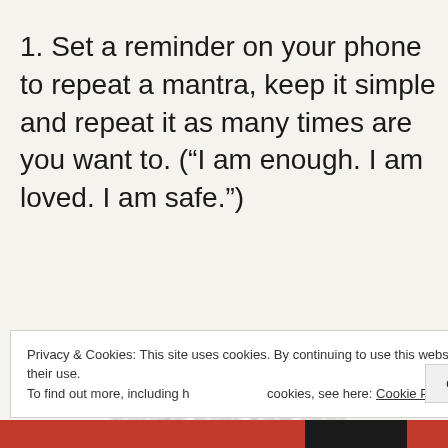1. Set a reminder on your phone to repeat a mantra, keep it simple and repeat it as many times are you want to. (“I am enough. I am loved. I am safe.”)
2. Start each morning with two
Privacy & Cookies: This site uses cookies. By continuing to use this website, you agree to their use.
To find out more, including how to control cookies, see here: Cookie Policy
Close and accept